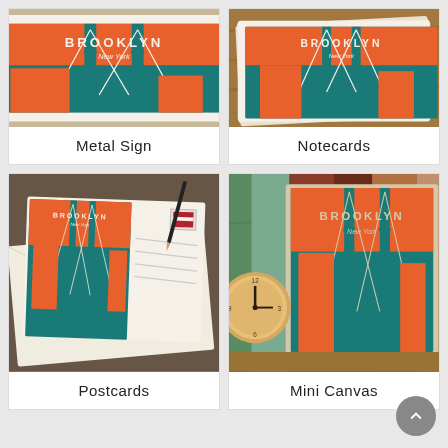[Figure (photo): Brooklyn Bridge metal sign product photo - teal and orange retro illustration]
Metal Sign
[Figure (photo): Brooklyn Bridge notecards product photo - retro illustration cards stacked on wood surface]
Notecards
[Figure (photo): Brooklyn Bridge postcards product photo - retro illustrated postcard with envelope on textured surface]
Postcards
[Figure (photo): Brooklyn Bridge mini canvas product photo - retro illustrated canvas on colorful wooden plank background with clock]
Mini Canvas